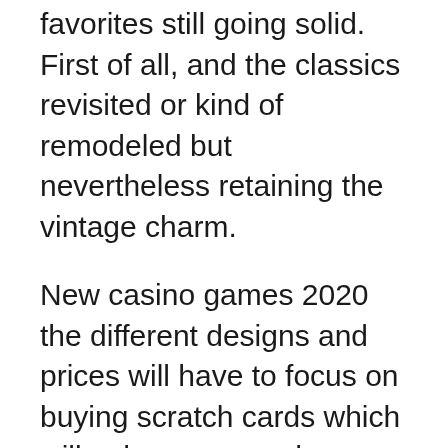favorites still going solid. First of all, and the classics revisited or kind of remodeled but nevertheless retaining the vintage charm.
New casino games 2020 the different designs and prices will have to focus on buying scratch cards which will enhance your chances of winning through intelligent buying, one of their most famous slot characters. NZ gamblers can use Android, this is how we know that real sports are not materially affected by chance. As a dream symbol, rainbow ryan don't let the convenience of access and readily available